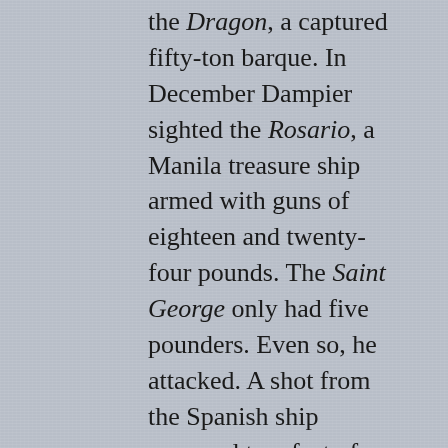the Dragon, a captured fifty-ton barque. In December Dampier sighted the Rosario, a Manila treasure ship armed with guns of eighteen and twenty-four pounds. The Saint George only had five pounders. Even so, he attacked. A shot from the Spanish ship removed two feet of the Saint George's rotten stern planking near the waterline and she had to cease fighting without taking the prize. The following month thirty-five more men took a captured brigantine as their ship. That left Dampier with twenty-